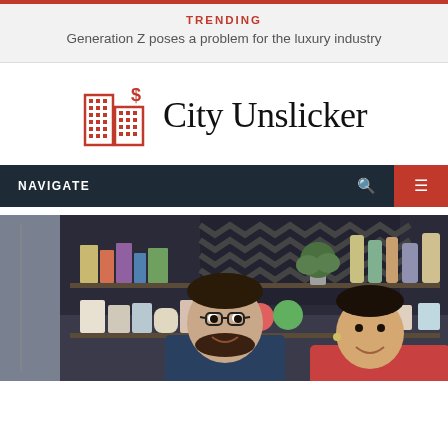TRENDING
Generation Z poses a problem for the luxury industry
[Figure (logo): City Unslicker logo with building and dollar sign icon]
NAVIGATE
[Figure (photo): Two people smiling in a cafe or shop setting with shelves of bottles and items in the background]